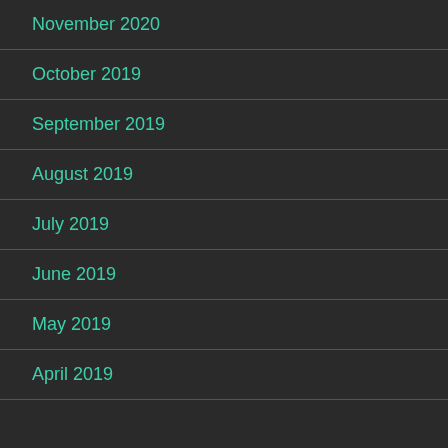November 2020
October 2019
September 2019
August 2019
July 2019
June 2019
May 2019
April 2019